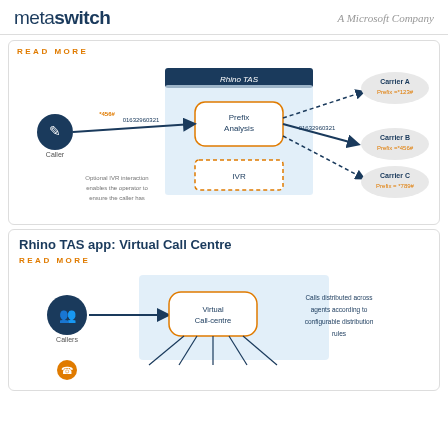metaswitch  A Microsoft Company
READ MORE
[Figure (flowchart): Rhino TAS prefix analysis flowchart showing a Caller sending *456#01632960321 to Rhino TAS Prefix Analysis box, which then routes 01632960321 to Carrier A (Prefix=*123#), Carrier B (Prefix=*456#), Carrier C (Prefix=*789#). An IVR box is shown below the Prefix Analysis. Text reads: Optional IVR interaction enables the operator to ensure the caller has]
Rhino TAS app: Virtual Call Centre
READ MORE
[Figure (flowchart): Virtual Call Centre flowchart showing Callers arrow pointing to Virtual Call-centre box, with text: Calls distributed across agents according to configurable distribution rules. An agent icon appears at the bottom.]